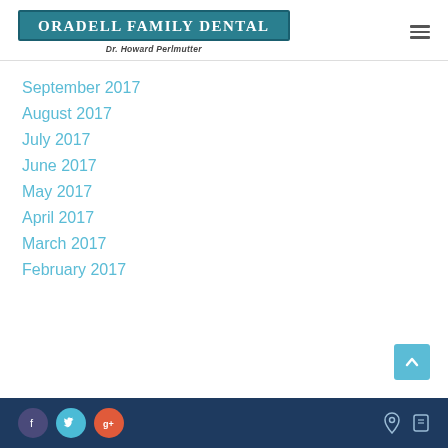Oradell Family Dental — Dr. Howard Perlmutter
September 2017
August 2017
July 2017
June 2017
May 2017
April 2017
March 2017
February 2017
Social icons: Facebook, Twitter, Google+; location and phone icons